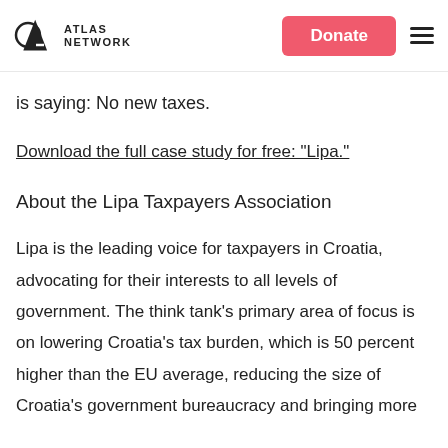ATLAS NETWORK | Donate | [menu]
is saying: No new taxes.
Download the full case study for free: "Lipa."
About the Lipa Taxpayers Association
Lipa is the leading voice for taxpayers in Croatia, advocating for their interests to all levels of government. The think tank's primary area of focus is on lowering Croatia's tax burden, which is 50 percent higher than the EU average, reducing the size of Croatia's government bureaucracy and bringing more